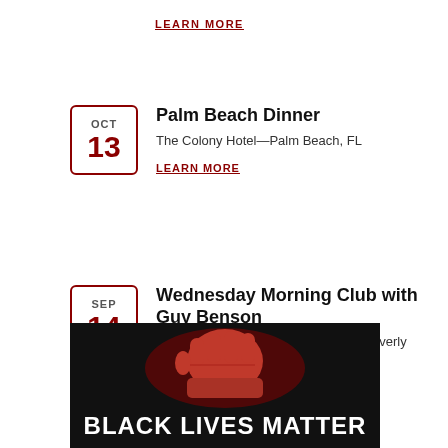LEARN MORE
OCT 13 — Palm Beach Dinner — The Colony Hotel—Palm Beach, FL — LEARN MORE
SEP 14 — Wednesday Morning Club with Guy Benson — Four Seasons Hotel Los Angeles at Beverly Hills—Los Angeles, CA — LEARN MORE
[Figure (photo): Black background image with large white bold text reading BLACK LIVES MATTER and a red raised fist graphic. Blue accessibility icon in upper right corner.]